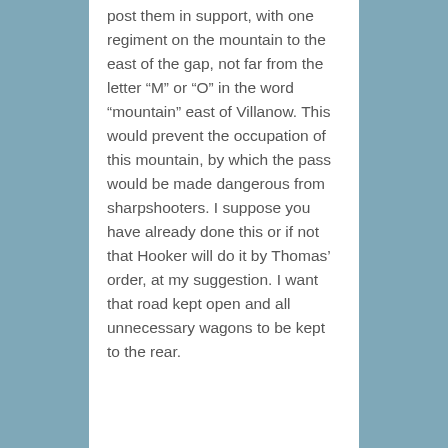post them in support, with one regiment on the mountain to the east of the gap, not far from the letter “M” or “O” in the word “mountain” east of Villanow. This would prevent the occupation of this mountain, by which the pass would be made dangerous from sharpshooters. I suppose you have already done this or if not that Hooker will do it by Thomas’ order, at my suggestion. I want that road kept open and all unnecessary wagons to be kept to the rear.